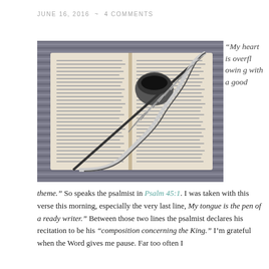JUNE 16, 2016 ~ 4 COMMENTS
[Figure (photo): Overhead view of an open book with a quill feather and an ink pot on a striped fabric background, black and white tones]
“My heart is overflowing with a good theme.”
“theme.” So speaks the psalmist in Psalm 45:1. I was taken with this verse this morning, especially the very last line, My tongue is the pen of a ready writer.” Between those two lines the psalmist declares his recitation to be his “composition concerning the King.” I’m grateful when the Word gives me pause. Far too often I